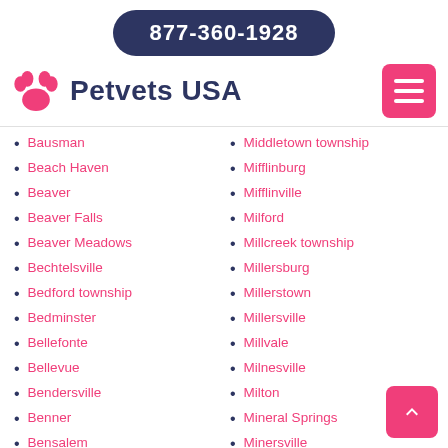877-360-1928
Petvets USA
Bausman
Beach Haven
Beaver
Beaver Falls
Beaver Meadows
Bechtelsville
Bedford township
Bedminster
Bellefonte
Bellevue
Bendersville
Benner
Bensalem
Middletown township
Mifflinburg
Mifflinville
Milford
Millcreek township
Millersburg
Millerstown
Millersville
Millvale
Milnesville
Milton
Mineral Springs
Minersville